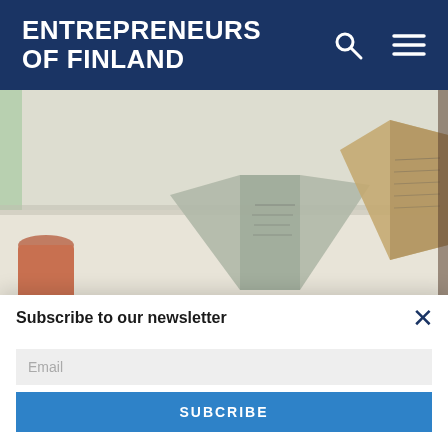ENTREPRENEURS OF FINLAND
[Figure (photo): Aalto Venture Program Design Your Story workshop – tent cards on a table with a cup, photo by Jhan Gonzalez Vargas]
Aalto Venture Program – Design Your Story workshop –
Photographer: Jhan Gonzalez Vargas
Subscribe to our newsletter
Email
SUBCRIBE